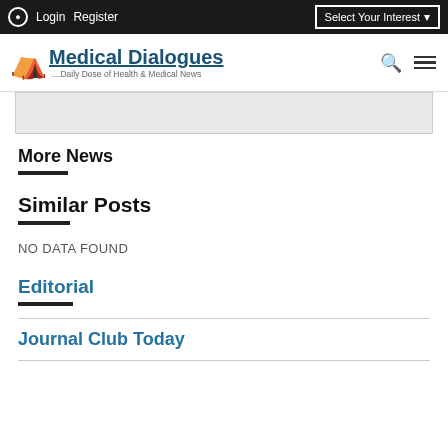Login  Register  Select Your Interest
[Figure (logo): Medical Dialogues logo with stethoscope icon and tagline '....Daily Dose of Health & Medical News']
More News
Similar Posts
NO DATA FOUND
Editorial
Journal Club Today